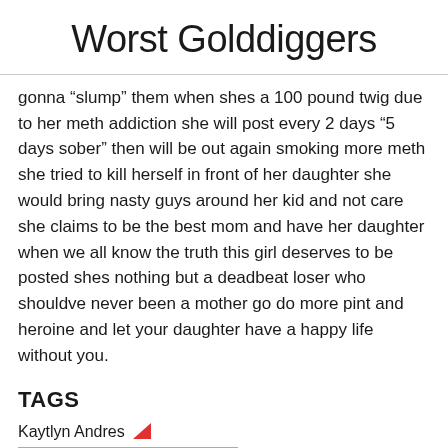Worst Golddiggers
gonna "slump" them when shes a 100 pound twig due to her meth addiction she will post every 2 days "5 days sober" then will be out again smoking more meth she tried to kill herself in front of her daughter she would bring nasty guys around her kid and not care she claims to be the best mom and have her daughter when we all know the truth this girl deserves to be posted shes nothing but a deadbeat loser who shouldve never been a mother go do more pint and heroine and let your daughter have a happy life without you.
TAGS
Kaytlyn Andres